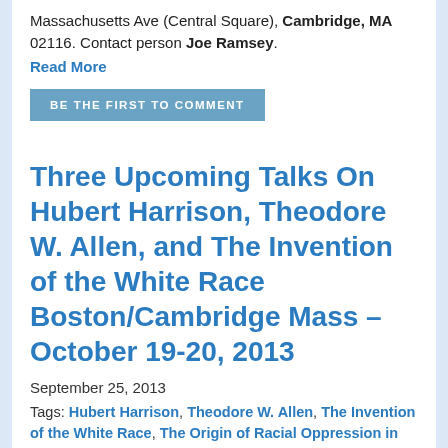Massachusetts Ave (Central Square), Cambridge, MA 02116. Contact person Joe Ramsey.
Read More
BE THE FIRST TO COMMENT
Three Upcoming Talks On Hubert Harrison, Theodore W. Allen, and The Invention of the White Race Boston/Cambridge Mass – October 19-20, 2013
September 25, 2013
Tags: Hubert Harrison, Theodore W. Allen, The Invention of the White Race, The Origin of Racial Oppression in Anglo-America, Jeffrey B. Perry, Dudley Branch Library, South Asians for Global